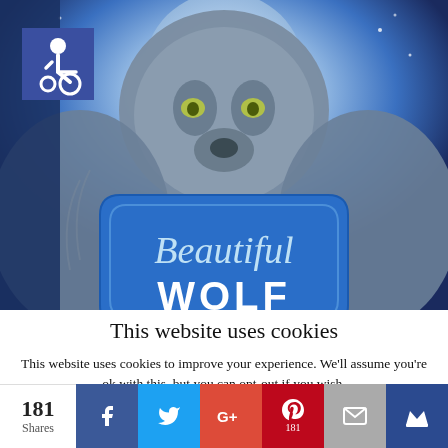[Figure (illustration): Book cover image showing a wolf against a blue moonlit background with a decorative blue sign reading 'Beautiful WOLF'. An accessibility icon is shown in the top left corner.]
This website uses cookies
This website uses cookies to improve your experience. We'll assume you're ok with this, but you can opt-out if you wish.